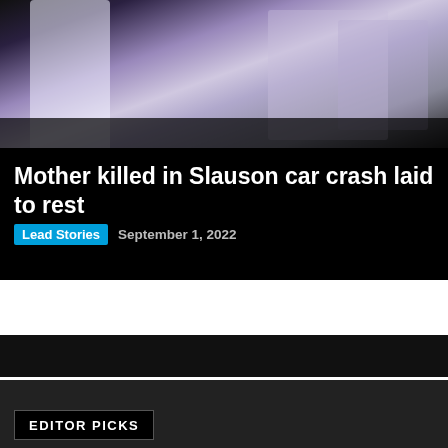[Figure (photo): Photo showing people at a funeral or memorial service, with purple/lavender colored decorations or clothing visible]
Mother killed in Slauson car crash laid to rest
Lead Stories  September 1, 2022
EDITOR PICKS